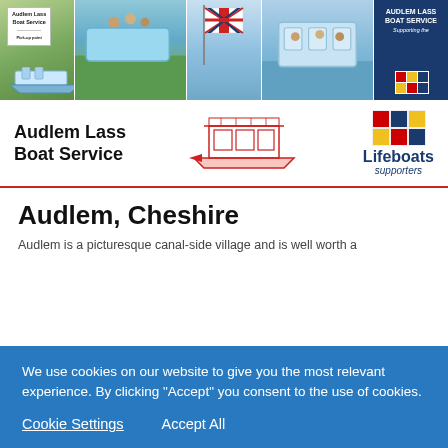[Figure (photo): Header photo strip showing Audlem Lass Boat Service boats on a canal in four panels, plus an RNLI logo panel on the right]
[Figure (logo): Audlem Lass Boat Service logo with boat illustration and RNLI Lifeboats supporters badge]
Audlem, Cheshire
Audlem is a picturesque canal-side village and is well worth a
We use cookies on our website to give you the most relevant experience. By clicking "Accept" you consent to the use of cookies.
Cookie Settings   Accept All